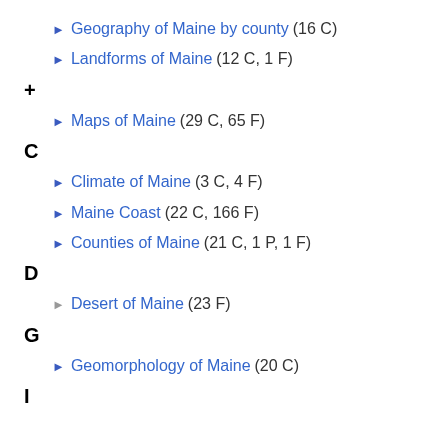▶ Geography of Maine by county (16 C)
▶ Landforms of Maine (12 C, 1 F)
+
▶ Maps of Maine (29 C, 65 F)
C
▶ Climate of Maine (3 C, 4 F)
▶ Maine Coast (22 C, 166 F)
▶ Counties of Maine (21 C, 1 P, 1 F)
D
▶ Desert of Maine (23 F)
G
▶ Geomorphology of Maine (20 C)
I